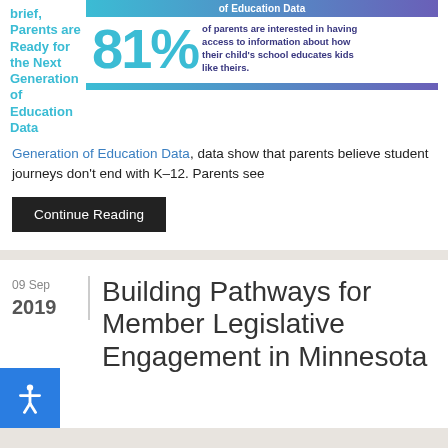brief, Parents are Ready for the Next Generation of Education Data
[Figure (infographic): Infographic showing 81% of parents are interested in having access to information about how their child's school educates kids like theirs.]
Generation of Education Data, data show that parents believe student journeys don't end with K–12. Parents see
Continue Reading
09 Sep 2019
Building Pathways for Member Legislative Engagement in Minnesota